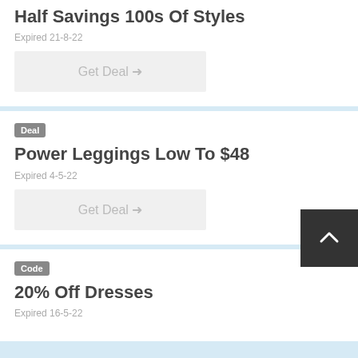Half Savings 100s Of Styles
Expired 21-8-22
Get Deal →
Deal
Power Leggings Low To $48
Expired 4-5-22
Get Deal →
Code
20% Off Dresses
Expired 16-5-22